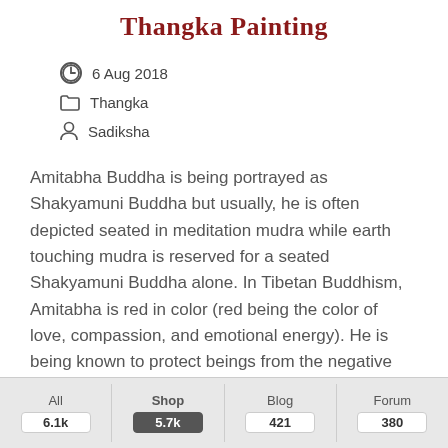Thangka Painting
6 Aug 2018
Thangka
Sadiksha
Amitabha Buddha is being portrayed as Shakyamuni Buddha but usually, he is often depicted seated in meditation mudra while earth touching mudra is reserved for a seated Shakyamuni Buddha alone. In Tibetan Buddhism, Amitabha is red in color (red being the color of love, compassion, and emotional energy). He is being known to protect beings from the negative emotions of attachment his unique emblem is the lotus. He is thus
All 6.1k | Shop 5.7k | Blog 421 | Forum 380